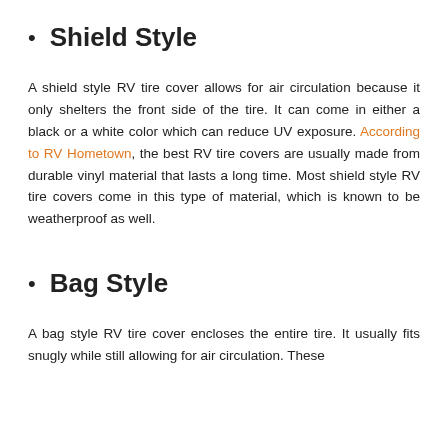Shield Style
A shield style RV tire cover allows for air circulation because it only shelters the front side of the tire. It can come in either a black or a white color which can reduce UV exposure. According to RV Hometown, the best RV tire covers are usually made from durable vinyl material that lasts a long time. Most shield style RV tire covers come in this type of material, which is known to be weatherproof as well.
Bag Style
A bag style RV tire cover encloses the entire tire. It usually fits snugly while still allowing for air circulation. These